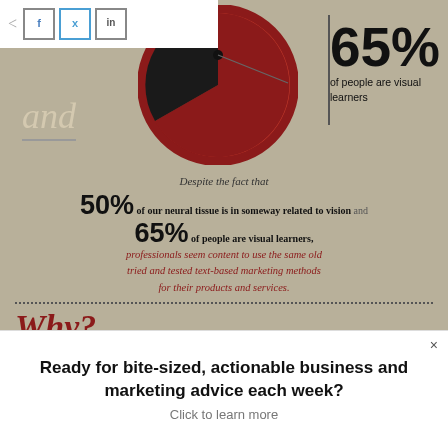[Figure (infographic): Infographic section showing a pie/donut chart with red and black segments, social sharing buttons (f, twitter bird, in), the word 'and', and '65%' label with 'of people are visual learners'. Also contains text about 50% neural tissue and 65% visual learners, red italic text about professionals using text-based marketing methods, a dotted divider, 'Why?' heading, and text about ditching antiquated content marketing methods.]
Ready for bite-sized, actionable business and marketing advice each week?
Click to learn more